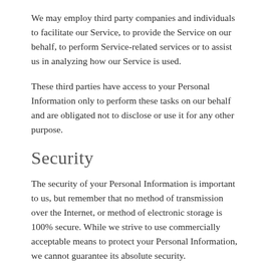We may employ third party companies and individuals to facilitate our Service, to provide the Service on our behalf, to perform Service-related services or to assist us in analyzing how our Service is used.
These third parties have access to your Personal Information only to perform these tasks on our behalf and are obligated not to disclose or use it for any other purpose.
Security
The security of your Personal Information is important to us, but remember that no method of transmission over the Internet, or method of electronic storage is 100% secure. While we strive to use commercially acceptable means to protect your Personal Information, we cannot guarantee its absolute security.